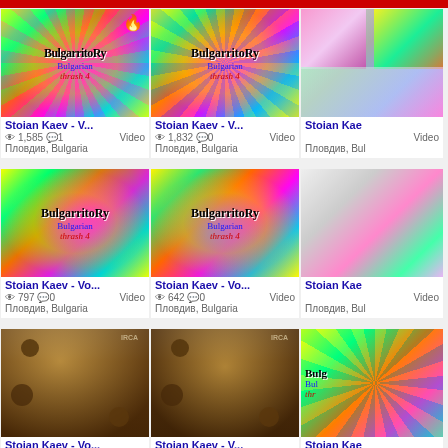[Figure (screenshot): Screenshot of a video platform grid showing 9 video thumbnails by Stoian Kaev from Plovdiv, Bulgaria, arranged in 3 rows of 3 columns (rightmost column partially cut off). Videos show psychedelic 'BulgarritoRy Bulgarian thrash' artwork and sepia stone relief images. View counts and comment counts are shown under each thumbnail.]
Stoian Kaev - V... 1,585 1 Пловдив, Bulgaria Video
Stoian Kaev - V... 1,832 0 Пловдив, Bulgaria Video
Stoian Kaev - Vo... 797 0 Пловдив, Bulgaria Video
Stoian Kaev - Vo... 642 0 Пловдив, Bulgaria Video
Stoian Kaev - Vo... 911 0 Пловдив, Bulgaria Video
Stoian Kaev - V... 1,534 0 Пловдив, Bulgaria Video